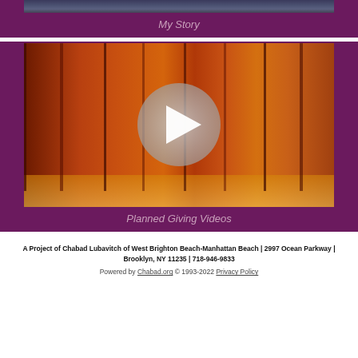[Figure (screenshot): Top card with photo (partial, cropped at top) on purple background with 'My Story' label]
My Story
[Figure (screenshot): Card showing books/religious texts with a video play button overlay on purple background]
Planned Giving Videos
A Project of Chabad Lubavitch of West Brighton Beach-Manhattan Beach | 2997 Ocean Parkway | Brooklyn, NY 11235 | 718-946-9833
Powered by Chabad.org © 1993-2022 Privacy Policy